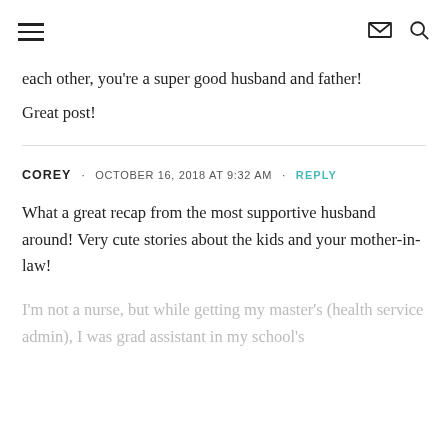[hamburger menu icon] [envelope icon] [search icon]
each other, you're a super good husband and father! Great post!
COREY · OCTOBER 16, 2018 AT 9:32 AM · REPLY
What a great recap from the most supportive husband around! Very cute stories about the kids and your mother-in-law!
I'm not a nurse, but while getting my master's (health service admin), I was grad assistant in my school's